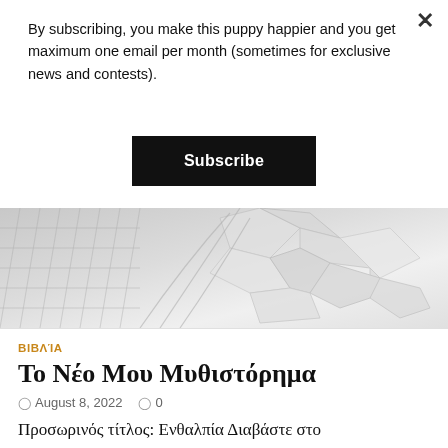By subscribing, you make this puppy happier and you get maximum one email per month (sometimes for exclusive news and contests).
Subscribe
[Figure (photo): Architectural abstract photo showing geometric patterns of a building structure in light grey tones]
ΒΙΒΛΊΑ
Το Νέο Μου Μυθιστόρημα
August 8, 2022   0
Προσωρινός τίτλος: Ενθαλπία Διαβάστε στο